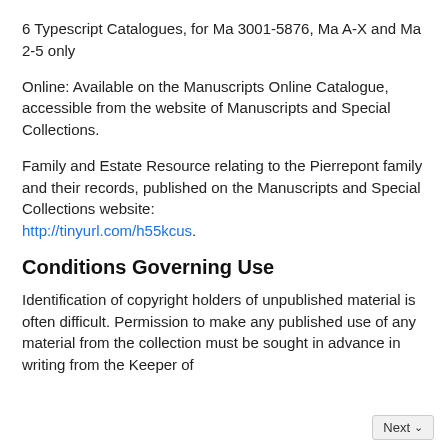6 Typescript Catalogues, for Ma 3001-5876, Ma A-X and Ma 2-5 only
Online: Available on the Manuscripts Online Catalogue, accessible from the website of Manuscripts and Special Collections.
Family and Estate Resource relating to the Pierrepont family and their records, published on the Manuscripts and Special Collections website: http://tinyurl.com/h55kcus.
Conditions Governing Use
Identification of copyright holders of unpublished material is often difficult. Permission to make any published use of any material from the collection must be sought in advance in writing from the Keeper of